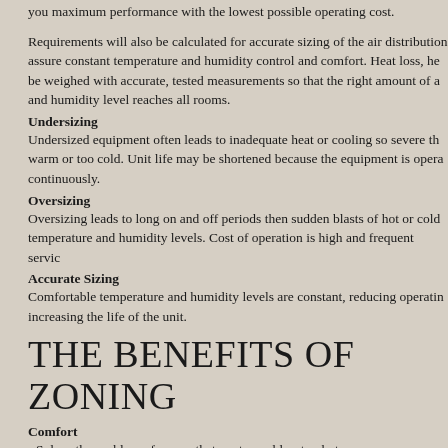you maximum performance with the lowest possible operating cost.
Requirements will also be calculated for accurate sizing of the air distribution assure constant temperature and humidity control and comfort. Heat loss, he be weighed with accurate, tested measurements so that the right amount of a and humidity level reaches all rooms.
Undersizing
Undersized equipment often leads to inadequate heat or cooling so severe th warm or too cold. Unit life may be shortened because the equipment is opera continuously.
Oversizing
Oversizing leads to long on and off periods then sudden blasts of hot or cold temperature and humidity levels. Cost of operation is high and frequent servic
Accurate Sizing
Comfortable temperature and humidity levels are constant, reducing operatin increasing the life of the unit.
THE BENEFITS OF ZONING
Comfort
• Solves the problem of rooms that are too cold or too hot
• Allows you to set the temperature you want, when you want it, where you wa
Conservation
• Only condition occupied zones
• Save up to 30% when combined with programmable thermostats
Convenience